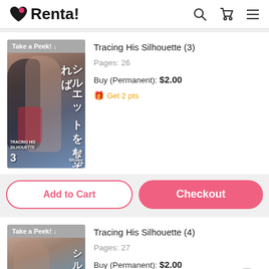Renta!
[Figure (screenshot): Book cover for Tracing His Silhouette volume 3 with manga art showing two characters, Japanese text シルエットをなぞれば, subtitle TRACING HIS SILHOUETTE, volume number 3, author Shoko]
Tracing His Silhouette (3)
Pages: 26
Buy (Permanent): $2.00
Get 2 pts
Add to Cart
Checkout
[Figure (screenshot): Book cover for Tracing His Silhouette volume 4 with manga art showing a character, partially visible]
Tracing His Silhouette (4)
Pages: 27
Buy (Permanent): $2.00
Get 2 pts